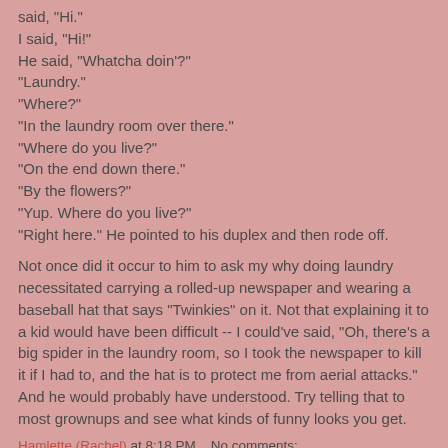said, "Hi."
I said, "Hi!"
He said, "Whatcha doin'?"
"Laundry."
"Where?"
"In the laundry room over there."
"Where do you live?"
"On the end down there."
"By the flowers?"
"Yup. Where do you live?"
"Right here." He pointed to his duplex and then rode off.
Not once did it occur to him to ask my why doing laundry necessitated carrying a rolled-up newspaper and wearing a baseball hat that says "Twinkies" on it. Not that explaining it to a kid would have been difficult -- I could've said, "Oh, there's a big spider in the laundry room, so I took the newspaper to kill it if I had to, and the hat is to protect me from aerial attacks." And he would probably have understood. Try telling that to most grownups and see what kinds of funny looks you get.
Hamlette (Rachel) at 8:18 PM    No comments: